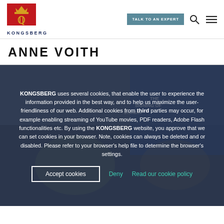[Figure (logo): Kongsberg logo: red square with gold royal crown and K monogram, text KONGSBERG below in dark navy blue]
TALK TO AN EXPERT
ANNE VOITH
[Figure (photo): Photo of people at a signing ceremony with banners reading 'THE SIGNING OF OUTSTANDING' in background, overlaid with cookie consent dialog]
KONGSBERG uses several cookies, that enable the user to experience the information provided in the best way, and to help us maximize the user-friendliness of our web. Additional cookies from third parties may occur, for example enabling streaming of YouTube movies, PDF readers, Adobe Flash functionalities etc. By using the KONGSBERG website, you approve that we can set cookies in your browser. Note, cookies can always be deleted and or disabled. Please refer to your browser's help file to determine the browser's settings.
Accept cookies  Deny  Read our cookie policy